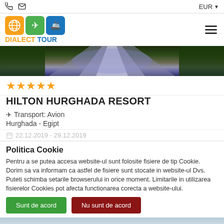EUR
[Figure (logo): Dialect Tour logo with globe, airplane, and ship icons]
[Figure (photo): Hotel entrance or walkway photo with purple/blue lighting]
★★★★★
HILTON HURGHADA RESORT
✈ Transport: Avion
Hurghada - Egipt
22.12.2019 - 29.12.2019
Politica Cookie
Pentru a se putea accesa website-ul sunt folosite fisiere de tip Cookie. Dorim sa va informam ca astfel de fisiere sunt stocate in website-ul Dvs.
Puteti schimba setarile browserului in orice moment. Limitarile in utilizarea fisierelor Cookies pot afecta functionarea corecta a website-ului.
Sunt de acord
Nu sunt de acord